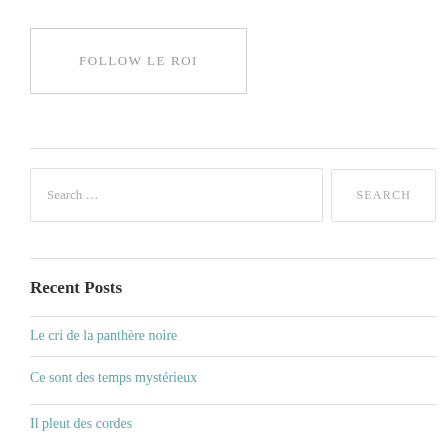FOLLOW LE ROI
Search …
SEARCH
Recent Posts
Le cri de la panthère noire
Ce sont des temps mystérieux
Il pleut des cordes